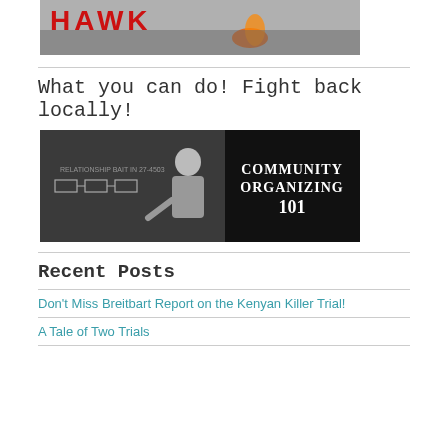[Figure (photo): Partial image at top showing 'HAWK' text in red with a bird/flame image on grey background]
[Figure (photo): Community Organizing 101 banner: person writing on chalkboard with text 'Community Organizing 101' on right side]
What you can do! Fight back locally!
Recent Posts
Don't Miss Breitbart Report on the Kenyan Killer Trial!
A Tale of Two Trials